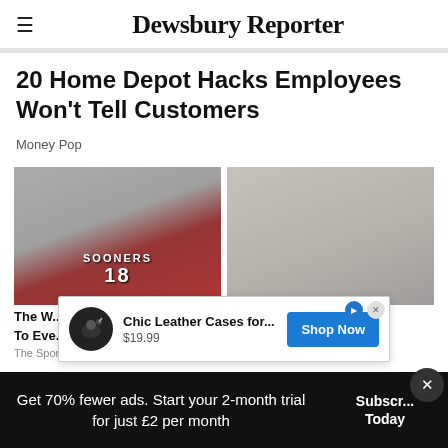Dewsbury Reporter
20 Home Depot Hacks Employees Won't Tell Customers
Money Pop
[Figure (photo): Two side-by-side photos: left shows a person in a red Sooners #18 jersey, right shows a young woman]
The W... To Eve...
The Sports Drop
Gets Text That Says "I'u..."
[Figure (infographic): Advertisement banner: Chic Leather Cases for... $19.99, Shop Now button]
Get 70% fewer ads. Start your 2-month trial for just £2 per month
Subscribe Today